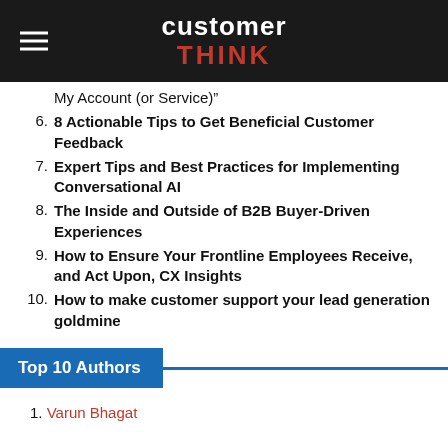customer THINK
My Account (or Service)”
6. 8 Actionable Tips to Get Beneficial Customer Feedback
7. Expert Tips and Best Practices for Implementing Conversational AI
8. The Inside and Outside of B2B Buyer-Driven Experiences
9. How to Ensure Your Frontline Employees Receive, and Act Upon, CX Insights
10. How to make customer support your lead generation goldmine
Top 10 Authors
1. Varun Bhagat